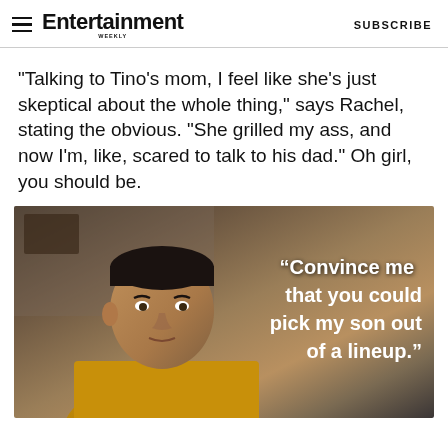Entertainment Weekly — SUBSCRIBE
"Talking to Tino's mom, I feel like she's just skeptical about the whole thing," says Rachel, stating the obvious. "She grilled my ass, and now I'm, like, scared to talk to his dad." Oh girl, you should be.
[Figure (photo): A man in a yellow sweater sits in a room with the overlay quote text: "Convince me that you could pick my son out of a lineup."]